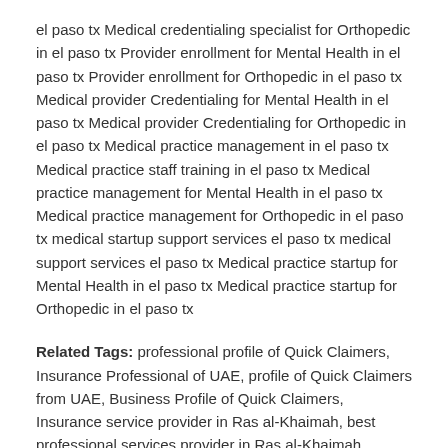el paso tx Medical credentialing specialist for Orthopedic in el paso tx Provider enrollment for Mental Health in el paso tx Provider enrollment for Orthopedic in el paso tx Medical provider Credentialing for Mental Health in el paso tx Medical provider Credentialing for Orthopedic in el paso tx Medical practice management in el paso tx Medical practice staff training in el paso tx Medical practice management for Mental Health in el paso tx Medical practice management for Orthopedic in el paso tx medical startup support services el paso tx medical support services el paso tx Medical practice startup for Mental Health in el paso tx Medical practice startup for Orthopedic in el paso tx
Related Tags: professional profile of Quick Claimers, Insurance Professional of UAE, profile of Quick Claimers from UAE, Business Profile of Quick Claimers, Insurance service provider in Ras al-Khaimah, best professional services provider in Ras al-Khaimah